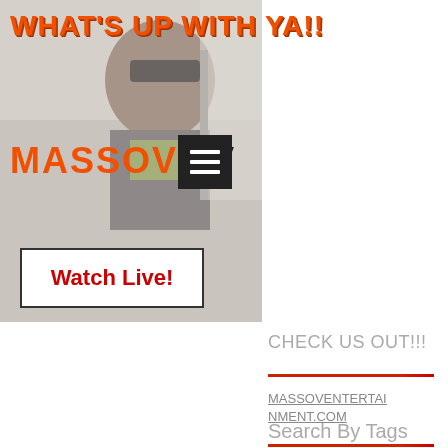WHAT'S UP WITH YA!!
[Figure (screenshot): Screenshot of MASSOV TV website showing a person wearing sunglasses and a scarf, with MASSOV TV logo, hamburger menu icon, Watch Live button, CHECK US OUT!!! section with MASSOVENTERTAIMENT.COM link, and Search By Tags section]
MASSOV TV
Watch Live!
CHECK US OUT!!!
MASSOVENTERTAIMENT.COM
Search By Tags
#BGMUSICSUMMIT